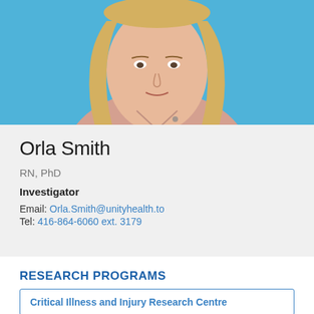[Figure (photo): Professional headshot of Orla Smith, a woman with long blonde hair, wearing a light pink top, against a blue background]
Orla Smith
RN, PhD
Investigator
Email: Orla.Smith@unityhealth.to
Tel: 416-864-6060 ext. 3179
RESEARCH PROGRAMS
Critical Illness and Injury Research Centre